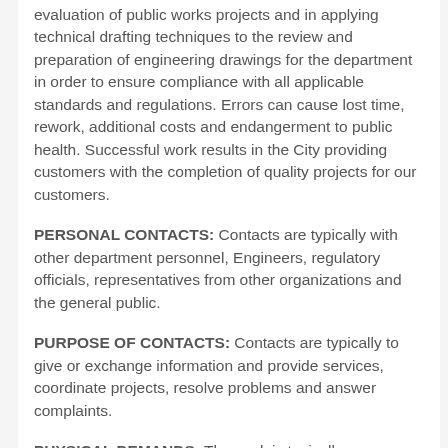evaluation of public works projects and in applying technical drafting techniques to the review and preparation of engineering drawings for the department in order to ensure compliance with all applicable standards and regulations. Errors can cause lost time, rework, additional costs and endangerment to public health. Successful work results in the City providing customers with the completion of quality projects for our customers.
PERSONAL CONTACTS: Contacts are typically with other department personnel, Engineers, regulatory officials, representatives from other organizations and the general public.
PURPOSE OF CONTACTS: Contacts are typically to give or exchange information and provide services, coordinate projects, resolve problems and answer complaints.
PHYSICAL DEMANDS: The work is typically